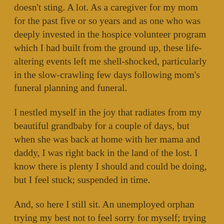doesn't sting. A lot. As a caregiver for my mom for the past five or so years and as one who was deeply invested in the hospice volunteer program which I had built from the ground up, these life-altering events left me shell-shocked, particularly in the slow-crawling few days following mom's funeral planning and funeral.
I nestled myself in the joy that radiates from my beautiful grandbaby for a couple of days, but when she was back at home with her mama and daddy, I was right back in the land of the lost. I know there is plenty I should and could be doing, but I feel stuck; suspended in time.
And, so here I still sit. An unemployed orphan trying my best not to feel sorry for myself; trying my best to not be anxious, but to cast all my cares upon the Lord, as